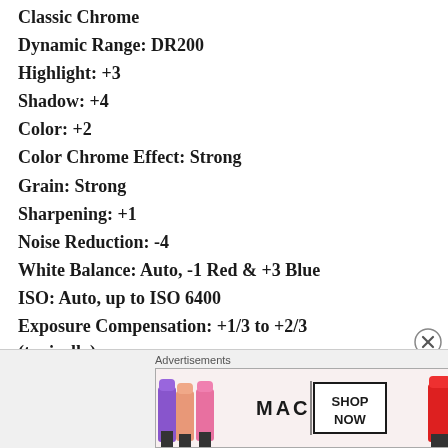Classic Chrome
Dynamic Range: DR200
Highlight: +3
Shadow: +4
Color: +2
Color Chrome Effect: Strong
Grain: Strong
Sharpening: +1
Noise Reduction: -4
White Balance: Auto, -1 Red & +3 Blue
ISO: Auto, up to ISO 6400
Exposure Compensation: +1/3 to +2/3 (typically)
[Figure (advertisement): MAC cosmetics advertisement banner showing lipsticks with SHOP NOW button]